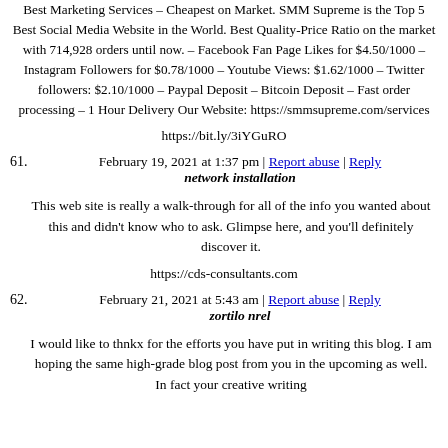Best Marketing Services – Cheapest on Market. SMM Supreme is the Top 5 Best Social Media Website in the World. Best Quality-Price Ratio on the market with 714,928 orders until now. – Facebook Fan Page Likes for $4.50/1000 – Instagram Followers for $0.78/1000 – Youtube Views: $1.62/1000 – Twitter followers: $2.10/1000 – Paypal Deposit – Bitcoin Deposit – Fast order processing – 1 Hour Delivery Our Website: https://smmsupreme.com/services
https://bit.ly/3iYGuRO
February 19, 2021 at 1:37 pm | Report abuse | Reply
network installation
This web site is really a walk-through for all of the info you wanted about this and didn't know who to ask. Glimpse here, and you'll definitely discover it.
https://cds-consultants.com
February 21, 2021 at 5:43 am | Report abuse | Reply
zortilo nrel
I would like to thnkx for the efforts you have put in writing this blog. I am hoping the same high-grade blog post from you in the upcoming as well. In fact your creative writing